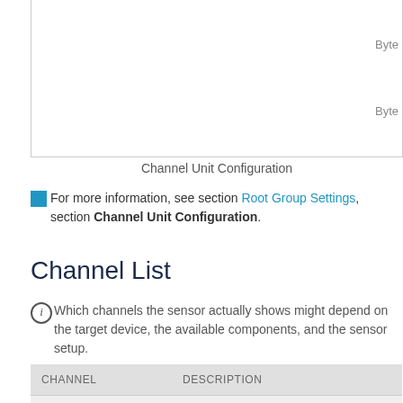Channel Unit Configuration
For more information, see section Root Group Settings, section Channel Unit Configuration.
Channel List
Which channels the sensor actually shows might depend on the target device, the available components, and the sensor setup.
| CHANNEL | DESCRIPTION |
| --- | --- |
| Downtime | In the channel table on the Overview tab, this channel never shows any values. PRTG uses this channel in graphs and reports to show the amount of time in which the sensor was in the Down status in percent. |